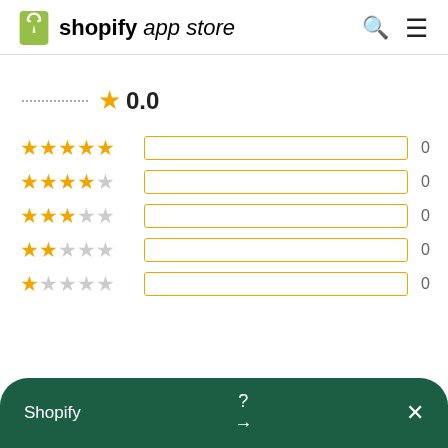shopify app store
0.0
[Figure (infographic): Rating breakdown with 5 rows of star ratings (5-star to 1-star) each with an empty progress bar and count of 0]
Shopify ? →  ×